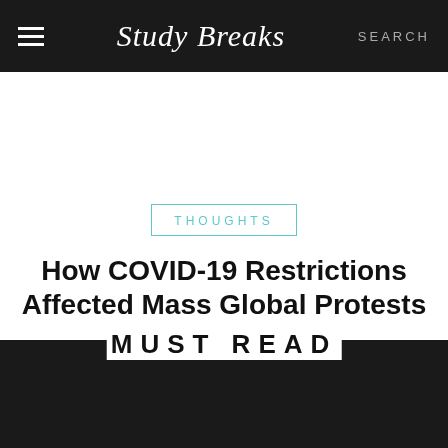Study Breaks — SEARCH
THOUGHTS
How COVID-19 Restrictions Affected Mass Global Protests
MUST READ